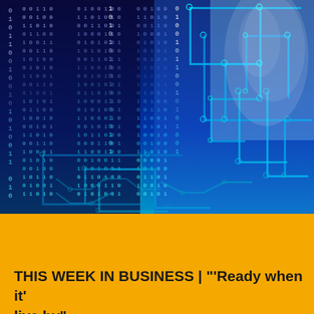[Figure (illustration): Digital technology background image showing binary code (0s and 1s) streaming down on the left half over a dark blue background, and a glowing circuit board pattern on the right half with cyan/blue traces and nodes, suggesting artificial intelligence or digital computing themes.]
THIS WEEK IN BUSINESS | "'Ready when it' live by"